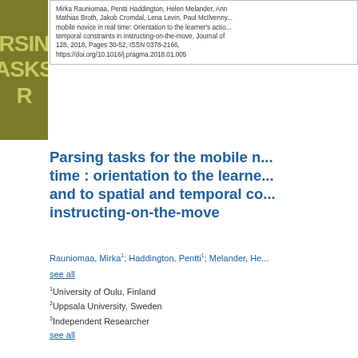[Figure (other): Olive/dark yellow sidebar block with text 'RSIN ASKS R' in lighter yellow letters]
Mirka Rauniomaa, Pentti Haddington, Helen Melander, Ann... Mathias Broth, Jakob Cromdal, Lena Levin, Paul McIlvenny... mobile novice in real time: Orientation to the learner's actio... temporal constraints in instructing-on-the-move, Journal of... 128, 2018, Pages 30-52, ISSN 0378-2166, https://doi.org/10.1016/j.pragma.2018.01.005
Parsing tasks for the mobile novice in real time : orientation to the learner's actions and to spatial and temporal constraints in instructing-on-the-move
Rauniomaa, Mirka1; Haddington, Pentti1; Melander, He...
see all
1University of Oulu, Finland
2Uppsala University, Sweden
3Independent Researcher
see all
article
accepted version
open
PDF Full Text (PDF, 10.8 MB)